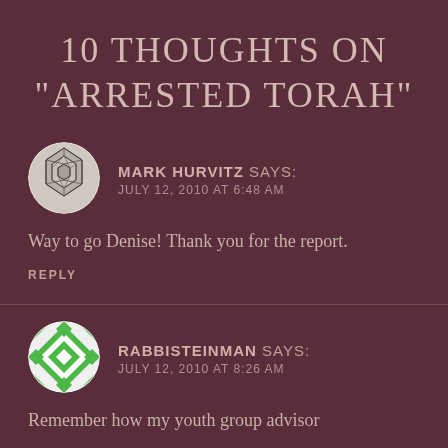10 THOUGHTS ON “ARRESTED TORAH”
[Figure (illustration): Circular avatar with black and white geometric/zigzag pattern for user Mark Hurvitz]
MARK HURVITZ SAYS:
JULY 12, 2010 AT 6:48 AM
Way to go Denise! Thank you for the report.
REPLY
[Figure (illustration): Circular avatar with green and white diamond/checkerboard pattern for user Rabbisteinman]
RABBISTEINMAN SAYS:
JULY 12, 2010 AT 8:26 AM
Remember how my youth group advisor